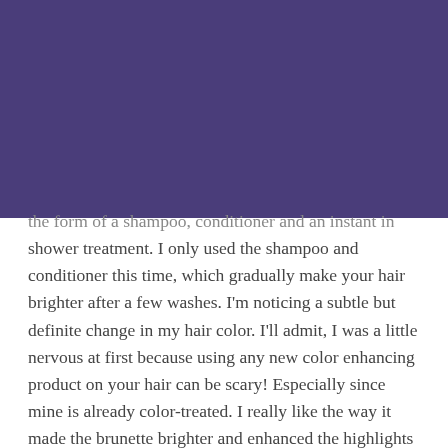[Figure (photo): Large purple/violet colored rectangular block covering the upper portion of the page]
the form of a shampoo, conditioner and an instant in shower treatment. I only used the shampoo and conditioner this time, which gradually make your hair brighter after a few washes. I'm noticing a subtle but definite change in my hair color. I'll admit, I was a little nervous at first because using any new color enhancing product on your hair can be scary! Especially since mine is already color-treated. I really like the way it made the brunette brighter and enhanced the highlights that were already there. I would say the highlights are more golden and chocolatey.